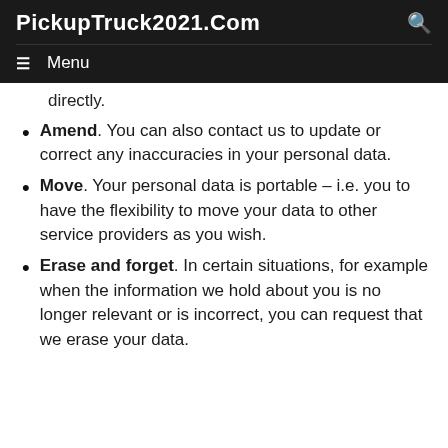PickupTruck2021.Com
directly.
Amend. You can also contact us to update or correct any inaccuracies in your personal data.
Move. Your personal data is portable – i.e. you to have the flexibility to move your data to other service providers as you wish.
Erase and forget. In certain situations, for example when the information we hold about you is no longer relevant or is incorrect, you can request that we erase your data.